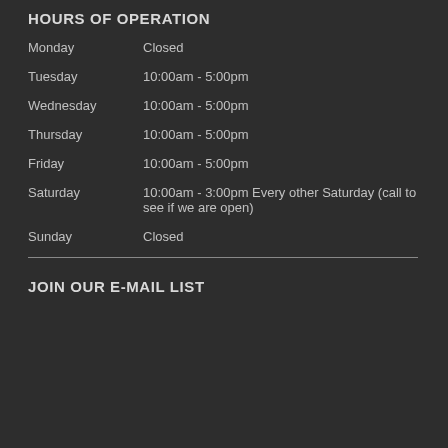HOURS OF OPERATION
| Day | Hours |
| --- | --- |
| Monday | Closed |
| Tuesday | 10:00am - 5:00pm |
| Wednesday | 10:00am - 5:00pm |
| Thursday | 10:00am - 5:00pm |
| Friday | 10:00am - 5:00pm |
| Saturday | 10:00am - 3:00pm Every other Saturday (call to see if we are open) |
| Sunday | Closed |
JOIN OUR E-MAIL LIST